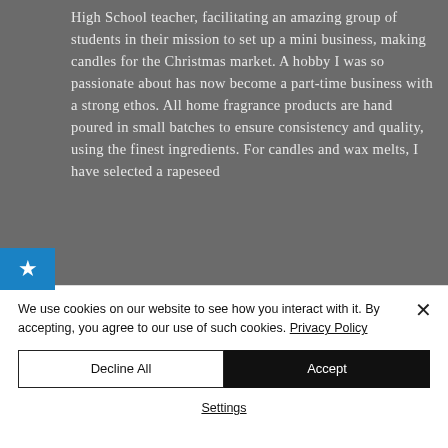High School teacher, facilitating an amazing group of students in their mission to set up a mini business, making candles for the Christmas market. A hobby I was so passionate about has now become a part-time business with a strong ethos. All home fragrance products are hand poured in small batches to ensure consistency and quality, using the finest ingredients. For candles and wax melts, I have selected a rapeseed
[Figure (other): Blue box with white star icon on the left side of the page]
We use cookies on our website to see how you interact with it. By accepting, you agree to our use of such cookies. Privacy Policy
Decline All
Accept
Settings